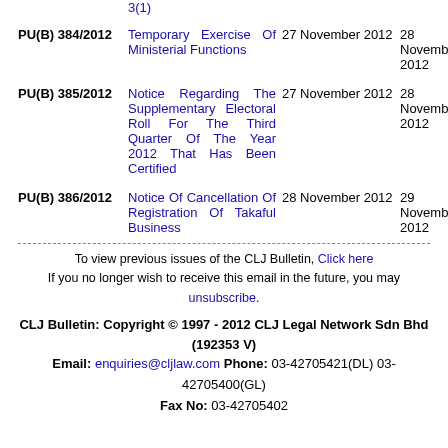PU(B) 384/2012 | Temporary Exercise Of Ministerial Functions | 27 November 2012 | 28 November 2012
PU(B) 385/2012 | Notice Regarding The Supplementary Electoral Roll For The Third Quarter Of The Year 2012 That Has Been Certified | 27 November 2012 | 28 November 2012
PU(B) 386/2012 | Notice Of Cancellation Of Registration Of Takaful Business | 28 November 2012 | 29 November 2012
To view previous issues of the CLJ Bulletin, Click here
If you no longer wish to receive this email in the future, you may unsubscribe.
CLJ Bulletin: Copyright © 1997 - 2012 CLJ Legal Network Sdn Bhd (192353 V)
Email: enquiries@cljlaw.com Phone: 03-42705421(DL) 03-42705400(GL)
Fax No: 03-42705402